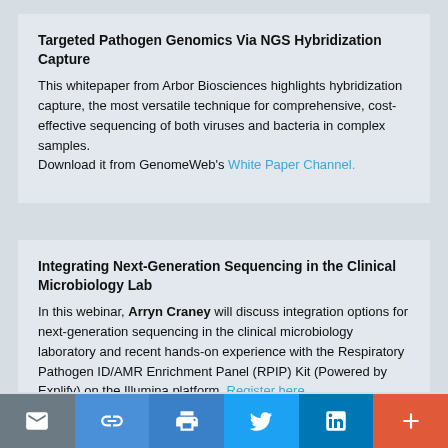Targeted Pathogen Genomics Via NGS Hybridization Capture
This whitepaper from Arbor Biosciences highlights hybridization capture, the most versatile technique for comprehensive, cost-effective sequencing of both viruses and bacteria in complex samples. Download it from GenomeWeb's White Paper Channel.
Integrating Next-Generation Sequencing in the Clinical Microbiology Lab
In this webinar, Arryn Craney will discuss integration options for next-generation sequencing in the clinical microbiology laboratory and recent hands-on experience with the Respiratory Pathogen ID/AMR Enrichment Panel (RPIP) Kit (Powered by Explify) on the Illumina platform. Register here.